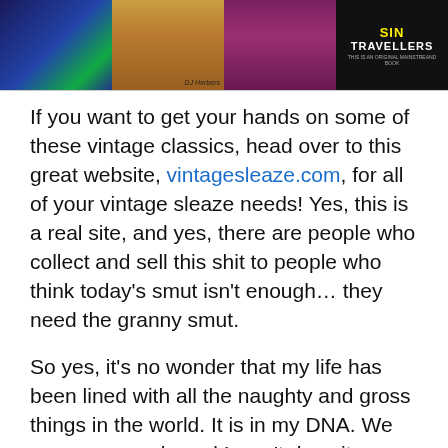[Figure (photo): A banner of four vintage pulp/sleaze book covers side by side. From left to right: a dark blue sci-fi scene, a tan/orange cover with a credit 'DJ Herbers', a dark red/purple cover with a woman, and a black cover with yellow and white text reading 'SIN TRAVELLERS'.]
If you want to get your hands on some of these vintage classics, head over to this great website, vintagesleaze.com, for all of your vintage sleaze needs! Yes, this is a real site, and yes, there are people who collect and sell this shit to people who think today's smut isn't enough… they need the granny smut.
So yes, it's no wonder that my life has been lined with all the naughty and gross things in the world. It is in my DNA. We are porn people and I won't deny it any longer! Why don't you try asking your parents about their past? You may find out you're a porn person too!
It was my...